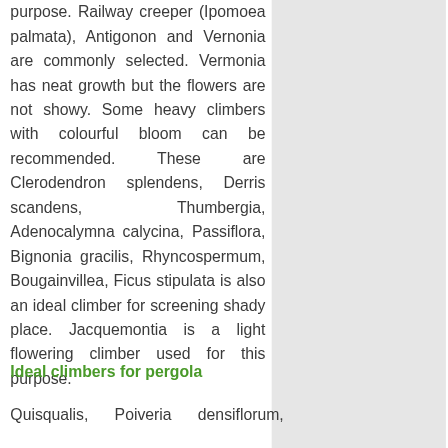purpose. Railway creeper (Ipomoea palmata), Antigonon and Vernonia are commonly selected. Vermonia has neat growth but the flowers are not showy. Some heavy climbers with colourful bloom can be recommended. These are Clerodendron splendens, Derris scandens, Thumbergia, Adenocalymna calycina, Passiflora, Bignonia gracilis, Rhyncospermum, Bougainvillea, Ficus stipulata is also an ideal climber for screening shady place. Jacquemontia is a light flowering climber used for this purpose.
Ideal climbers for pergola
Quisqualis, Poiveria densiflorum,